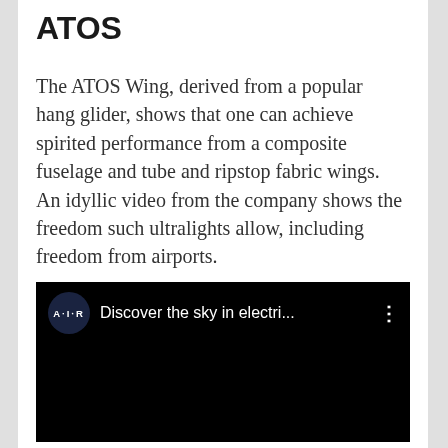ATOS
The ATOS Wing, derived from a popular hang glider, shows that one can achieve spirited performance from a composite fuselage and tube and ripstop fabric wings. An idyllic video from the company shows the freedom such ultralights allow, including freedom from airports.
[Figure (screenshot): Embedded video player with black background. Shows a circular dark navy logo with 'A·I·R' text, followed by the title 'Discover the sky in electri...' and a three-dot menu icon on the right. The thumbnail area is entirely black.]